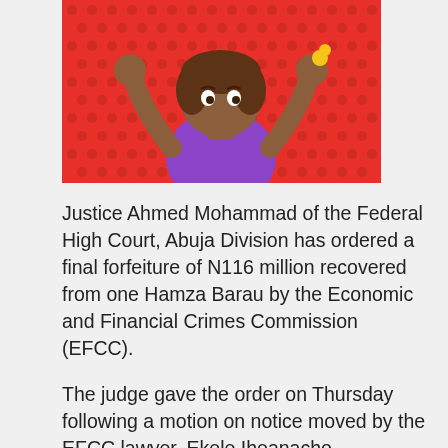[Figure (illustration): Emoji illustration of a person with hands raised, wearing a purple top, on a red polka-dot background]
Justice Ahmed Mohammad of the Federal High Court, Abuja Division has ordered a final forfeiture of N116 million recovered from one Hamza Barau by the Economic and Financial Crimes Commission (EFCC).
The judge gave the order on Thursday following a motion on notice moved by the EFCC lawyer, Ekele Iheanacho.
Mr Barau is the managing director of Hamshakin Ventures Limited. The said company was allegedly used to move funds from the coffers of the Small and Medium Enterprise Development